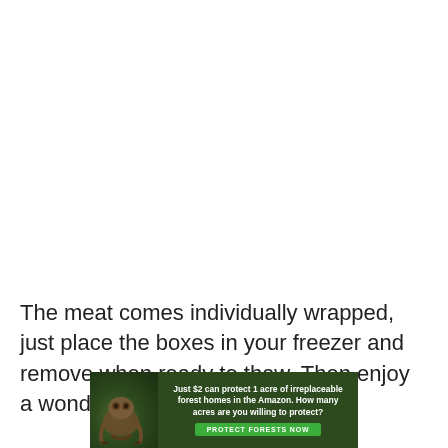The meat comes individually wrapped, just place the boxes in your freezer and remove when ready to thaw. Then enjoy a wonderful meal!
[Figure (infographic): Advertisement banner for Amazon forest protection. Dark green background with image of a sloth on the left. Text reads: 'Just $2 can protect 1 acre of irreplaceable forest homes in the Amazon. How many acres are you willing to protect?' with a green 'PROTECT FORESTS NOW' button.]